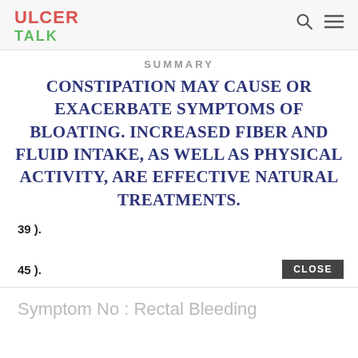ULCER TALK
SUMMARY
CONSTIPATION MAY CAUSE OR EXACERBATE SYMPTOMS OF BLOATING. INCREASED FIBER AND FLUID INTAKE, AS WELL AS PHYSICAL ACTIVITY, ARE EFFECTIVE NATURAL TREATMENTS.
39 ).
45 ).
Symptom No : Rectal Bleeding